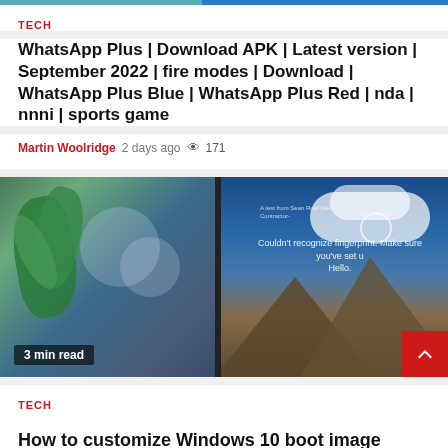TECH
WhatsApp Plus | Download APK | Latest version | September 2022 | fire modes | Download | WhatsApp Plus Blue | WhatsApp Plus Red | nda | nnni | sports game
Martin Woolridge  2 days ago  👁 171
[Figure (photo): Split image: left side shows a green houseplant near a window with blurred background; right side shows a laptop screen displaying Windows Hello fingerprint error message with mountain landscape wallpaper.]
3 min read
TECH
How to customize Windows 10 boot image automatically